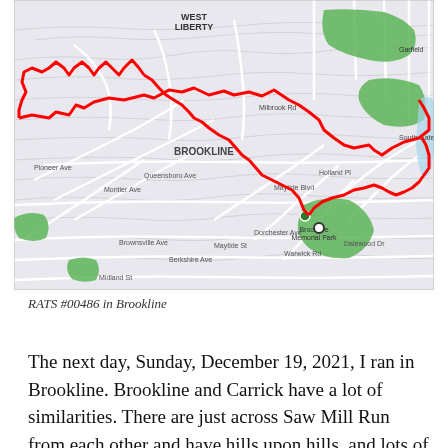[Figure (map): A street map of Brookline, Pittsburgh showing a GPS running route traced in red. Green areas indicate parks including Brookline Memorial Park. The route covers several streets in the Brookline and adjacent neighborhoods area.]
RATS #00486 in Brookline
The next day, Sunday, December 19, 2021, I ran in Brookline. Brookline and Carrick have a lot of similarities. There are just across Saw Mill Run from each other and have hills upon hills, and lots of alleys. It was a little colder that day, in the mid-20's, but otherwise fine. My first